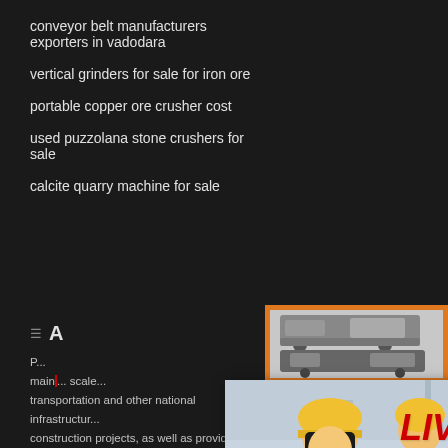conveyor belt manufacturers exporters in vadodara
vertical grinders for sale for iron ore
portable copper ore crusher cost
used puzzolana stone crushers for sale
calcite quarry machine for sale
A
P... main... scale... transportation and other national infrastructure construction projects, as well as providing tec... solutions and supporting products.
[Figure (photo): Live chat popup with woman in hard hat and colleagues, red LIVE CHAT title, Chat now and Chat later buttons]
[Figure (photo): Orange sidebar with mining machinery images, Enjoy 3% discount banner, Click to Chat button, Enquiry link, and limingjlmofen@sina.com email]